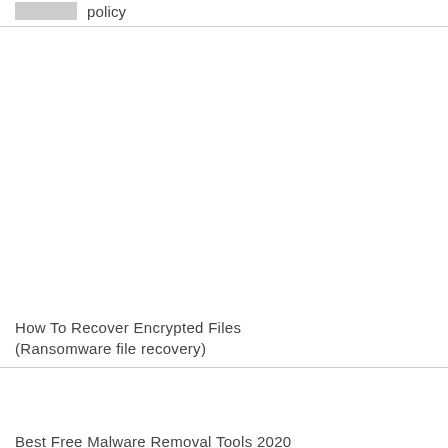policy
How To Recover Encrypted Files (Ransomware file recovery)
Best Free Malware Removal Tools 2020